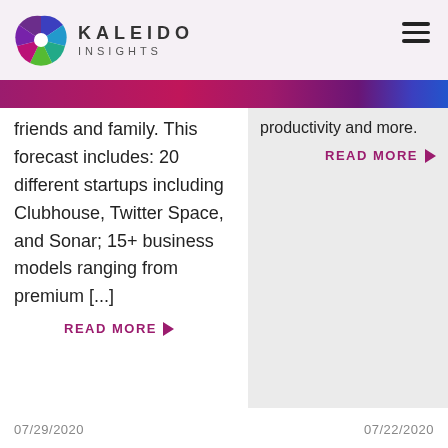KALEIDO INSIGHTS
friends and family. This forecast includes: 20 different startups including Clubhouse, Twitter Space, and Sonar; 15+ business models ranging from premium [...]
productivity and more.
READ MORE
READ MORE
07/29/2020   07/22/2020